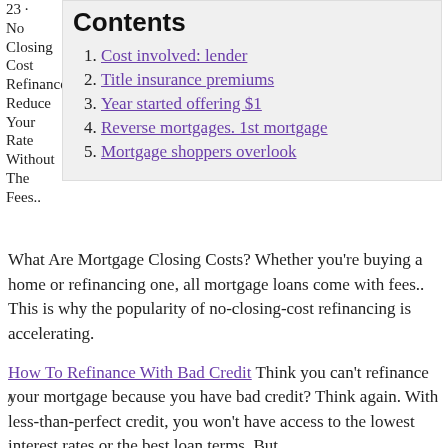23 · No Closing Cost Refinance: Reduce Your Rate Without The Fees..
Contents
1. Cost involved: lender
2. Title insurance premiums
3. Year started offering $1
4. Reverse mortgages. 1st mortgage
5. Mortgage shoppers overlook
What Are Mortgage Closing Costs? Whether you're buying a home or refinancing one, all mortgage loans come with fees.. This is why the popularity of no-closing-cost refinancing is accelerating.
How To Refinance With Bad Credit Think you can't refinance your mortgage because you have bad credit? Think again. With less-than-perfect credit, you won't have access to the lowest interest rates or the best loan terms. But.